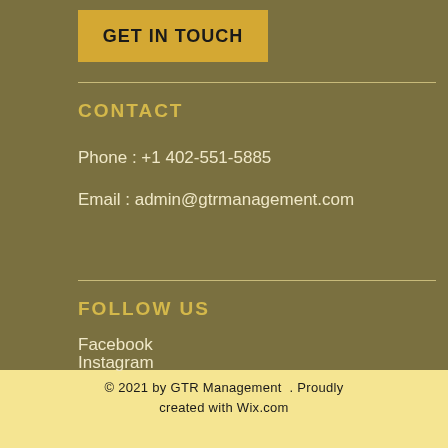GET IN TOUCH
CONTACT
Phone : +1 402-551-5885
Email : admin@gtrmanagement.com
FOLLOW US
Facebook
Instagram
© 2021 by GTR Management . Proudly created with Wix.com